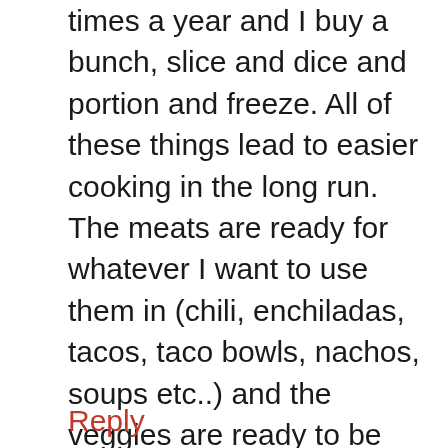times a year and I buy a bunch, slice and dice and portion and freeze. All of these things lead to easier cooking in the long run. The meats are ready for whatever I want to use them in (chili, enchiladas, tacos, taco bowls, nachos, soups etc..) and the veggies are ready to be thrown into the pot with all the other ingredients with no prep work from me the day I cook.

I save time and money no matter how I prep goods for the freezer and that makes me happy.
Reply